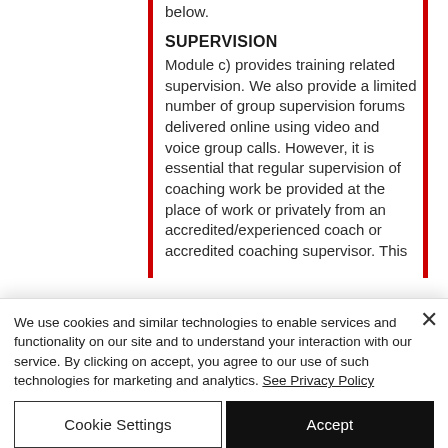below.
SUPERVISION
Module c) provides training related supervision. We also provide a limited number of group supervision forums delivered online using video and voice group calls. However, it is essential that regular supervision of coaching work be provided at the place of work or privately from an accredited/experienced coach or accredited coaching supervisor. This
We use cookies and similar technologies to enable services and functionality on our site and to understand your interaction with our service. By clicking on accept, you agree to our use of such technologies for marketing and analytics. See Privacy Policy